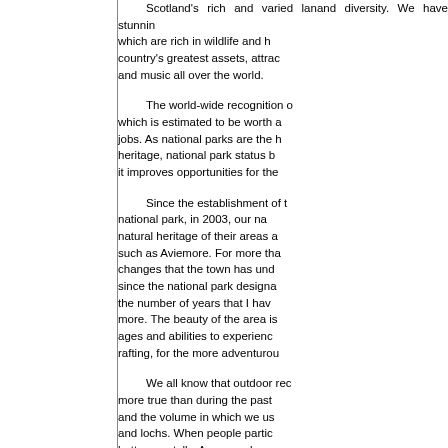Scotland's rich and varied landscape and diversity. We have stunning which are rich in wildlife and h country's greatest assets, attrac and music all over the world.
The world-wide recognition of which is estimated to be worth a jobs. As national parks are the heritage, national park status b it improves opportunities for the
Since the establishment of national park, in 2003, our na natural heritage of their areas such as Aviemore. For more tha changes that the town has und since the national park designa the number of years that I hav more. The beauty of the area is ages and abilities to experienc rafting, for the more adventurou
We all know that outdoor rec more true than during the past and the volume in which we us and lochs. When people partic better mentally. As a member activity and the improvement o During the committee's work on a cost, and that by positively inf communities and prevent long-t